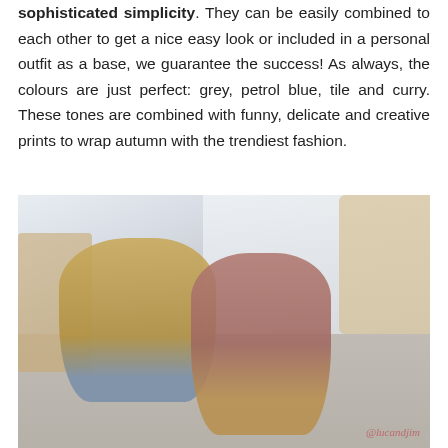sophisticated simplicity. They can be easily combined to each other to get a nice easy look or included in a personal outfit as a base, we guarantee the success! As always, the colours are just perfect: grey, petrol blue, tile and curry. These tones are combined with funny, delicate and creative prints to wrap autumn with the trendiest fashion.
[Figure (photo): Two young toddler children sitting on a light wooden floor in a bright room. The older child on the left wears a curry-yellow long-sleeve top and jeans, playing with coloured toys. The younger toddler on the right faces the camera wearing a dusty rose/mauve long-sleeve top and ochre trousers, holding a small green toy. Wooden furniture (small chair/table with book, and a wooden cot bed) visible in background. Watermark '@lucandjim' in bottom right corner.]